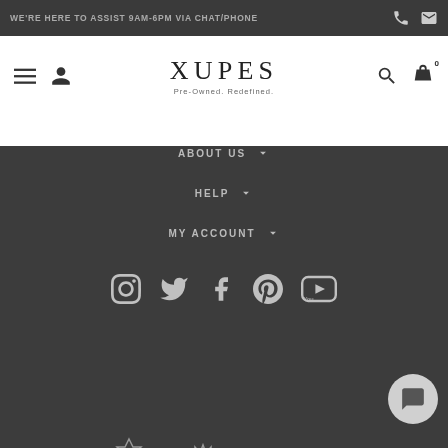WE'RE HERE TO ASSIST 9AM-6PM VIA CHAT/PHONE
[Figure (logo): XUPES Pre-Owned. Redefined. logo with navigation icons]
ABOUT US
HELP
MY ACCOUNT
[Figure (illustration): Social media icons: Instagram, Twitter, Facebook, Pinterest, YouTube]
[Figure (illustration): Brand logos: Cartier, Rolex, unknown, Omega, Longines]